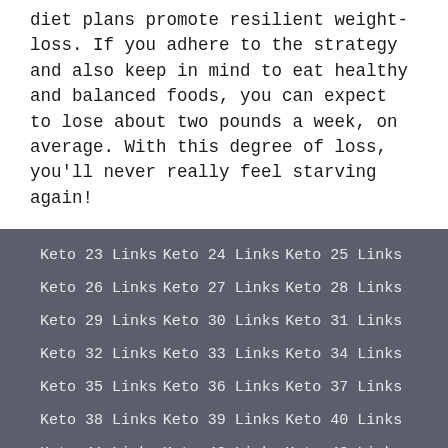diet plans promote resilient weight-loss. If you adhere to the strategy and also keep in mind to eat healthy and balanced foods, you can expect to lose about two pounds a week, on average. With this degree of loss, you'll never really feel starving again!
Keto 23 Links
Keto 24 Links
Keto 25 Links
Keto 26 Links
Keto 27 Links
Keto 28 Links
Keto 29 Links
Keto 30 Links
Keto 31 Links
Keto 32 Links
Keto 33 Links
Keto 34 Links
Keto 35 Links
Keto 36 Links
Keto 37 Links
Keto 38 Links
Keto 39 Links
Keto 40 Links
Keto 41 Links
Keto 42 Links
Keto 43 Links